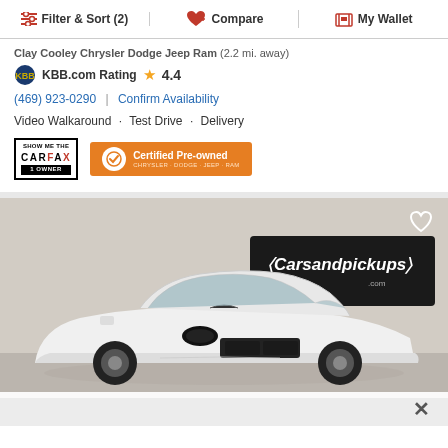Filter & Sort (2)  |  Compare  |  My Wallet
Clay Cooley Chrysler Dodge Jeep Ram (2.2 mi. away)
KBB.com Rating  4.4
(469) 923-0290  |  Confirm Availability
Video Walkaround · Test Drive · Delivery
[Figure (logo): CARFAX Show Me The History 1 Owner badge]
[Figure (logo): Certified Pre-Owned badge - Chrysler Dodge Jeep Ram]
[Figure (photo): White Dodge Challenger muscle car in showroom with Carsandpickups.com banner in background]